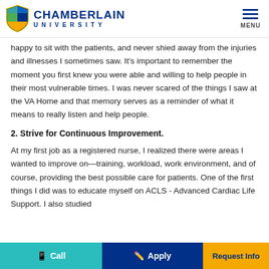CHAMBERLAIN UNIVERSITY
happy to sit with the patients, and never shied away from the injuries and illnesses I sometimes saw. It's important to remember the moment you first knew you were able and willing to help people in their most vulnerable times. I was never scared of the things I saw at the VA Home and that memory serves as a reminder of what it means to really listen and help people.
2. Strive for Continuous Improvement.
At my first job as a registered nurse, I realized there were areas I wanted to improve on—training, workload, work environment, and of course, providing the best possible care for patients. One of the first things I did was to educate myself on ACLS - Advanced Cardiac Life Support. I also studied
Call  Apply  Request Info